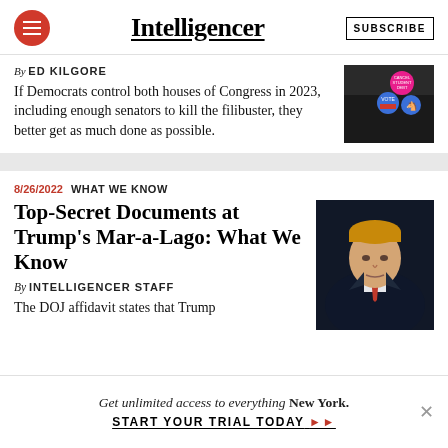Intelligencer | SUBSCRIBE
By ED KILGORE
If Democrats control both houses of Congress in 2023, including enough senators to kill the filibuster, they better get as much done as possible.
[Figure (photo): Photo of political buttons including 'Cancel Student Debt', 'Vote', and a Democratic donkey button on a dark jacket]
8/26/2022  WHAT WE KNOW
Top-Secret Documents at Trump's Mar-a-Lago: What We Know
By INTELLIGENCER STAFF
The DOJ affidavit states that Trump
[Figure (photo): Photo of Donald Trump in a dark suit and red tie against a dark background]
Get unlimited access to everything New York. START YOUR TRIAL TODAY